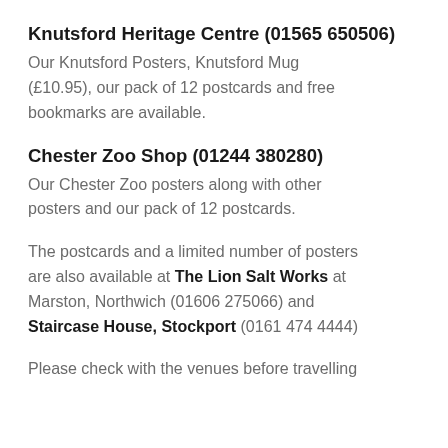Knutsford Heritage Centre (01565 650506)
Our Knutsford Posters, Knutsford Mug (£10.95), our pack of 12 postcards and free bookmarks are available.
Chester Zoo Shop (01244 380280)
Our Chester Zoo posters along with other posters and our pack of 12 postcards.
The postcards and a limited number of posters are also available at The Lion Salt Works at Marston, Northwich (01606 275066) and Staircase House, Stockport (0161 474 4444)
Please check with the venues before travelling